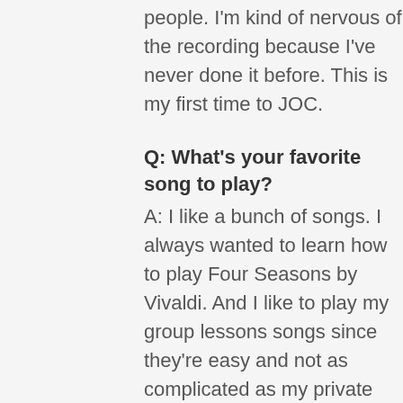people. I'm kind of nervous of the recording because I've never done it before. This is my first time to JOC.
Q: What's your favorite song to play?
A: I like a bunch of songs. I always wanted to learn how to play Four Seasons by Vivaldi. And I like to play my group lessons songs since they're easy and not as complicated as my private lessons. My favorite song in group lessons would be El Zapateado.
Q: What do you like to do when you're not in music class?
A: I like to play the Wii with my friends. I also like to do rollerblading